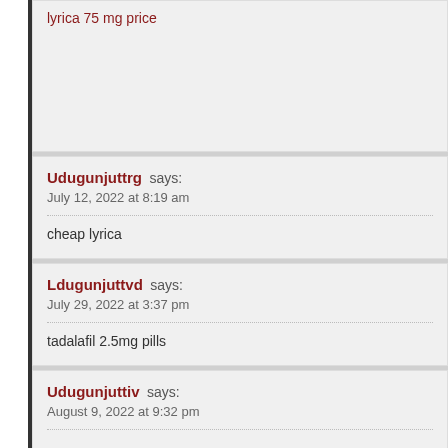lyrica 75 mg price
Udugunjuttrg says:
July 12, 2022 at 8:19 am
cheap lyrica
Ldugunjuttvd says:
July 29, 2022 at 3:37 pm
tadalafil 2.5mg pills
Udugunjuttiv says:
August 9, 2022 at 9:32 pm